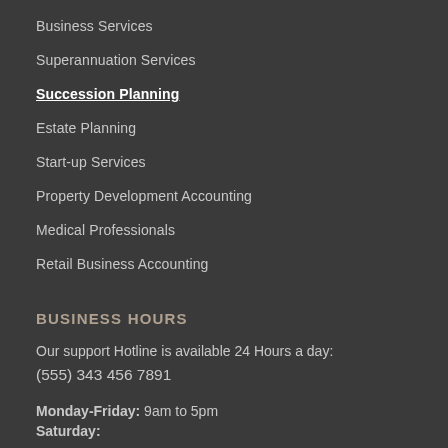Business Services
Superannuation Services
Succession Planning
Estate Planning
Start-up Services
Property Development Accounting
Medical Professionals
Retail Business Accounting
BUSINESS HOURS
Our support Hotline is available 24 Hours a day:
(555) 343 456 7891
Monday-Friday: 9am to 5pm
Saturday: